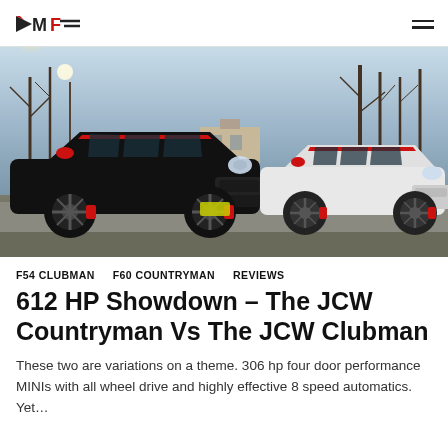MF logo and navigation menu
[Figure (photo): Two MINI JCW cars parked side by side on a suburban street. The left car is black (JCW Clubman) and the right car is white/silver (JCW Countryman), both with red accents and red mirror caps. Bare winter trees and a building visible in the background with sunlight flare in the upper left.]
F54 CLUBMAN   F60 COUNTRYMAN   REVIEWS
612 HP Showdown – The JCW Countryman Vs The JCW Clubman
These two are variations on a theme. 306 hp four door performance MINIs with all wheel drive and highly effective 8 speed automatics. Yet...